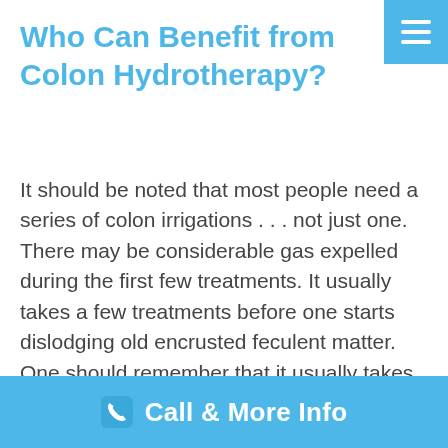Who Can Benefit from Colon Hydrotherapy?
It should be noted that most people need a series of colon irrigations . . . not just one. There may be considerable gas expelled during the first few treatments. It usually takes a few treatments before one starts dislodging old encrusted feculent matter. One should remember that it usually takes years for the colon to become clogged up with its own waste products. Therefore, one should not be impatient when pursuing a therapeutic course of colon irrigations. Constipation is [...]
Call & More Info